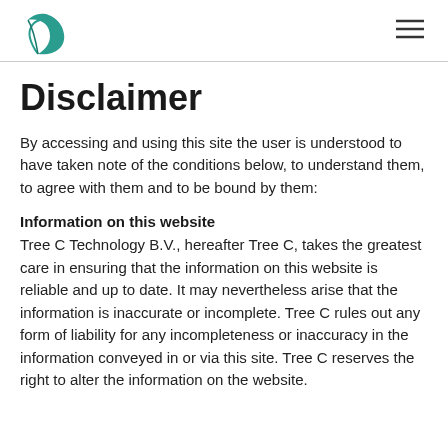[Tree C Technology logo and navigation]
Disclaimer
By accessing and using this site the user is understood to have taken note of the conditions below, to understand them, to agree with them and to be bound by them:
Information on this website
Tree C Technology B.V., hereafter Tree C, takes the greatest care in ensuring that the information on this website is reliable and up to date. It may nevertheless arise that the information is inaccurate or incomplete. Tree C rules out any form of liability for any incompleteness or inaccuracy in the information conveyed in or via this site. Tree C reserves the right to alter the information on the website.